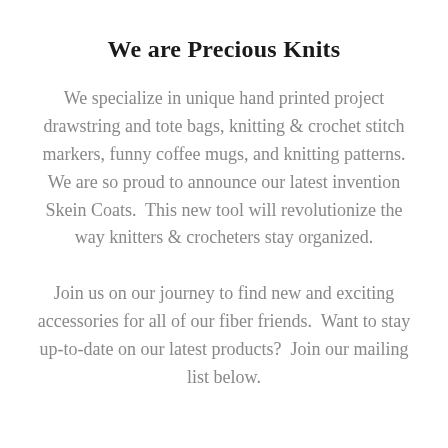We are Precious Knits
We specialize in unique hand printed project drawstring and tote bags, knitting & crochet stitch markers, funny coffee mugs, and knitting patterns. We are so proud to announce our latest invention Skein Coats. This new tool will revolutionize the way knitters & crocheters stay organized.
Join us on our journey to find new and exciting accessories for all of our fiber friends. Want to stay up-to-date on our latest products? Join our mailing list below.